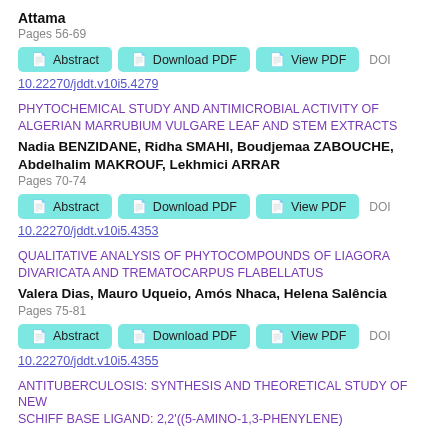Attama
Pages 56-69
Abstract | Download PDF | View PDF | DOI 10.22270/jddt.v10i5.4279
PHYTOCHEMICAL STUDY AND ANTIMICROBIAL ACTIVITY OF ALGERIAN MARRUBIUM VULGARE LEAF AND STEM EXTRACTS
Nadia BENZIDANE, Ridha SMAHI, Boudjemaa ZABOUCHE, Abdelhalim MAKROUF, Lekhmici ARRAR
Pages 70-74
Abstract | Download PDF | View PDF | DOI 10.22270/jddt.v10i5.4353
QUALITATIVE ANALYSIS OF PHYTOCOMPOUNDS OF LIAGORA DIVARICATA AND TREMATOCARPUS FLABELLATUS
Valera Dias, Mauro Uqueio, Amós Nhaca, Helena Salência
Pages 75-81
Abstract | Download PDF | View PDF | DOI 10.22270/jddt.v10i5.4355
ANTITUBERCULOSIS: SYNTHESIS AND THEORETICAL STUDY OF NEW SCHIFF BASE LIGAND: 2,2'((5-AMINO-1,3-PHENYLENE)...